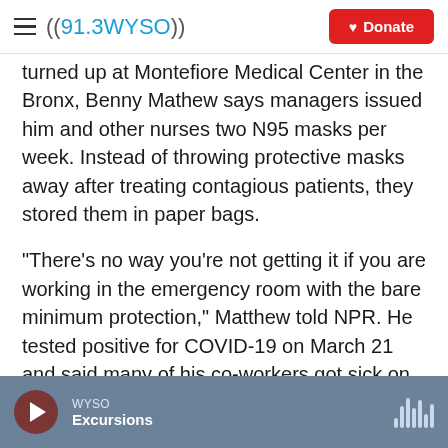((91.3WYSO)) | Donate
turned up at Montefiore Medical Center in the Bronx, Benny Mathew says managers issued him and other nurses two N95 masks per week. Instead of throwing protective masks away after treating contagious patients, they stored them in paper bags.
"There's no way you're not getting it if you are working in the emergency room with the bare minimum protection," Matthew told NPR. He tested positive for COVID-19 on March 21 and said many of his co-workers got sick on the job.
WYSO | Excursions